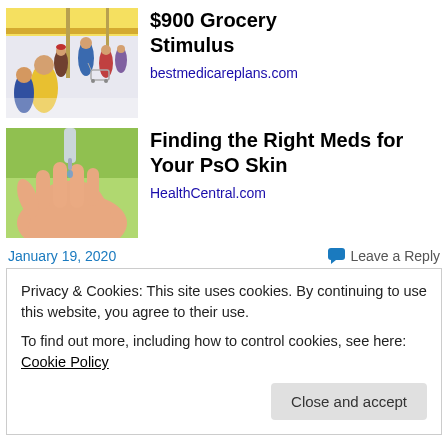[Figure (photo): Grocery store interior with shoppers and shopping carts]
$900 Grocery Stimulus
bestmedicareplans.com
[Figure (photo): Close-up of a hand receiving drops from a dropper bottle]
Finding the Right Meds for Your PsO Skin
HealthCentral.com
January 19, 2020
Leave a Reply
Privacy & Cookies: This site uses cookies. By continuing to use this website, you agree to their use.
To find out more, including how to control cookies, see here: Cookie Policy
Close and accept
It's Important